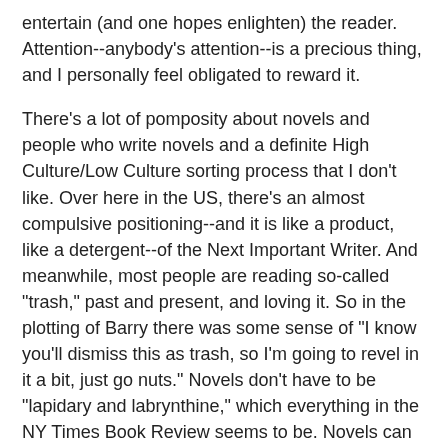entertain (and one hopes enlighten) the reader. Attention--anybody's attention--is a precious thing, and I personally feel obligated to reward it.
There's a lot of pomposity about novels and people who write novels and a definite High Culture/Low Culture sorting process that I don't like. Over here in the US, there's an almost compulsive positioning--and it is like a product, like a detergent--of the Next Important Writer. And meanwhile, most people are reading so-called "trash," past and present, and loving it. So in the plotting of Barry there was some sense of "I know you'll dismiss this as trash, so I'm going to revel in it a bit, just go nuts." Novels don't have to be "lapidary and labrynthine," which everything in the NY Times Book Review seems to be. Novels can simply entertain, and there's no less art in that.
There was also another thing afoot, which is related to my wife's being immersed in the culture of improv comedy here in Chicago. There is an aesthetic--which belies the form's roots in the 50s--of creativity on the fly, of trusting in the natural connective powers of your brain in medias res. It's a